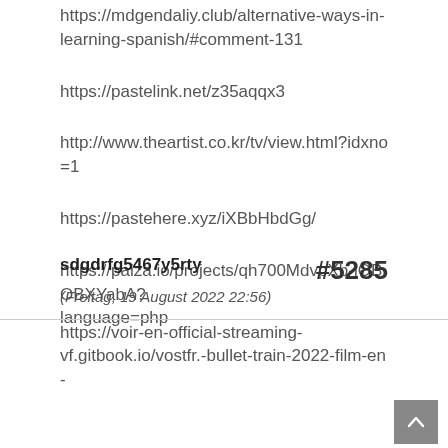https://mdgendaliy.club/alternative-ways-in-learning-spanish/#comment-131
https://pastelink.net/z35aqqx3
http://www.theartist.co.kr/tv/view.html?idxno=1
https://pastehere.xyz/iXBbHbdGg/
https://paiza.io/projects/qh700MdvpXb-iQBOBXYabA?language=php
sdgdrfg5467y5rty #5285 (Freitag, 19 August 2022 22:56)
https://voir-en-official-streaming-vf.gitbook.io/vostfr.-bullet-train-2022-film-en-